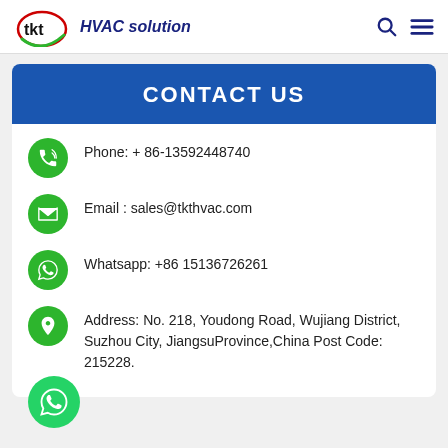tkt HVAC solution
CONTACT US
Phone: + 86-13592448740
Email : sales@tkthvac.com
Whatsapp: +86 15136726261
Address: No. 218, Youdong Road, Wujiang District, Suzhou City, JiangsuProvince,China Post Code: 215228.